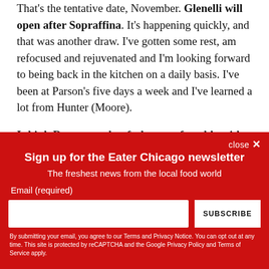That's the tentative date, November. Glenelli will open after Sopraffina. It's happening quickly, and that was another draw. I've gotten some rest, am refocused and rejuvenated and I'm looking forward to being back in the kitchen on a daily basis. I've been at Parson's five days a week and I've learned a lot from Hunter (Moore).
I think Dan wanted to feel uncomfortable with the new...
Sign up for the Eater Chicago newsletter
The freshest news from the local food world
Email (required)
By submitting your email, you agree to our Terms and Privacy Notice. You can opt out at any time. This site is protected by reCAPTCHA and the Google Privacy Policy and Terms of Service apply.